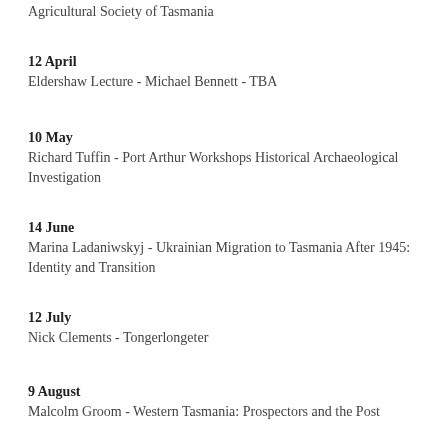Agricultural Society of Tasmania
12 April
Eldershaw Lecture - Michael Bennett - TBA
10 May
Richard Tuffin - Port Arthur Workshops Historical Archaeological Investigation
14 June
Marina Ladaniwskyj - Ukrainian Migration to Tasmania After 1945: Identity and Transition
12 July
Nick Clements - Tongerlongeter
9 August
Malcolm Groom - Western Tasmania: Prospectors and the Post